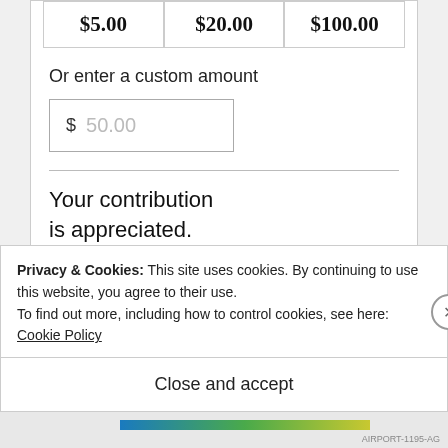| $5.00 | $20.00 | $100.00 |
| --- | --- | --- |
Or enter a custom amount
$ 50.00
Your contribution is appreciated.
Donate
Privacy & Cookies: This site uses cookies. By continuing to use this website, you agree to their use.
To find out more, including how to control cookies, see here: Cookie Policy
Close and accept